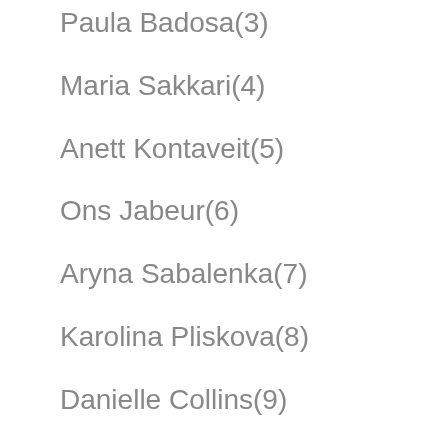Paula Badosa(3)
Maria Sakkari(4)
Anett Kontaveit(5)
Ons Jabeur(6)
Aryna Sabalenka(7)
Karolina Pliskova(8)
Danielle Collins(9)
Garbine Muguruza(10)
Jessica Pegula(11)